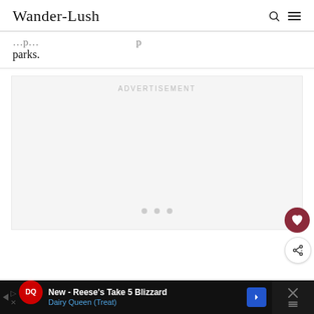Wander-Lush
parks.
[Figure (other): Advertisement placeholder box with ADVERTISEMENT label and three pagination dots]
New - Reese's Take 5 Blizzard Dairy Queen (Treat)